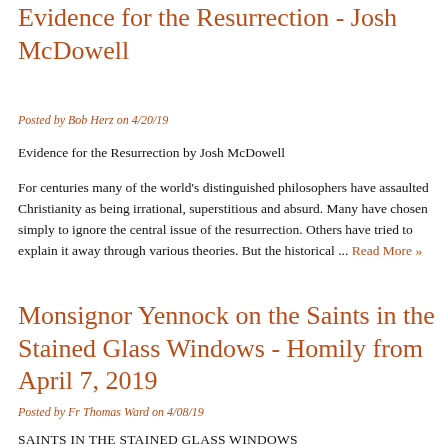Evidence for the Resurrection - Josh McDowell
Posted by Bob Herz on 4/20/19
Evidence for the Resurrection by Josh McDowell
For centuries many of the world's distinguished philosophers have assaulted Christianity as being irrational, superstitious and absurd. Many have chosen simply to ignore the central issue of the resurrection. Others have tried to explain it away through various theories. But the historical ... Read More »
Monsignor Yennock on the Saints in the Stained Glass Windows - Homily from April 7, 2019
Posted by Fr Thomas Ward on 4/08/19
SAINTS IN THE STAINED GLASS WINDOWS